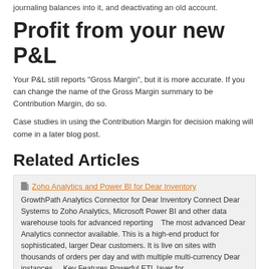journaling balances into it, and deactivating an old account.
Profit from your new P&L
Your P&L still reports "Gross Margin", but it is more accurate. If you can change the name of the Gross Margin summary to be Contribution Margin, do so.
Case studies in using the Contribution Margin for decision making will come in a later blog post.
Related Articles
Zoho Analytics and Power BI for Dear Inventory
GrowthPath Analytics Connector for Dear Inventory Connect Dear Systems to Zoho Analytics, Microsoft Power BI and other data warehouse tools for advanced reporting   The most advanced Dear Analytics connector available. This is a high-end product for sophisticated, larger Dear customers. It is live on sites with thousands of orders per day and with multiple multi-currency Dear instances.    Key Features Powerful ETL layer for